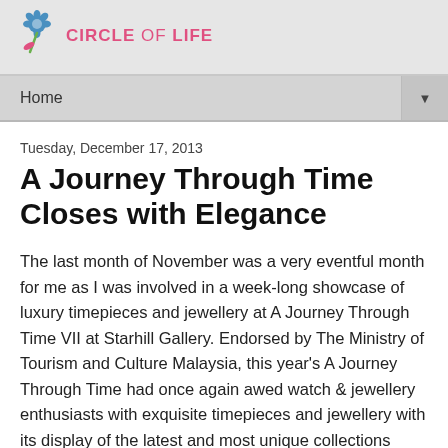CIRCLE of LIFE
Home
Tuesday, December 17, 2013
A Journey Through Time Closes with Elegance
The last month of November was a very eventful month for me as I was involved in a week-long showcase of luxury timepieces and jewellery at A Journey Through Time VII at Starhill Gallery. Endorsed by The Ministry of Tourism and Culture Malaysia, this year's A Journey Through Time had once again awed watch & jewellery enthusiasts with exquisite timepieces and jewellery with its display of the latest and most unique collections from world-renowned brands.
Making a grand finale for the closing event was the highly